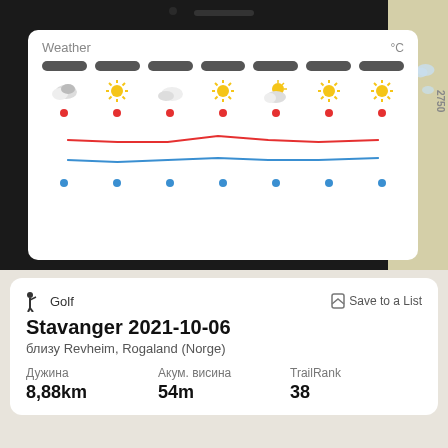[Figure (screenshot): Phone screenshot showing a weather widget with weather icons (cloudy, sunny, partly cloudy), red temperature line with dots, blue temperature line with dots, and time pills at top. Background shows a map with contour lines.]
Golf  Stavanger 2021-10-06  близу Revheim, Rogaland (Norge)  Дужина 8,88km  Акум. висина 54m  TrailRank 38